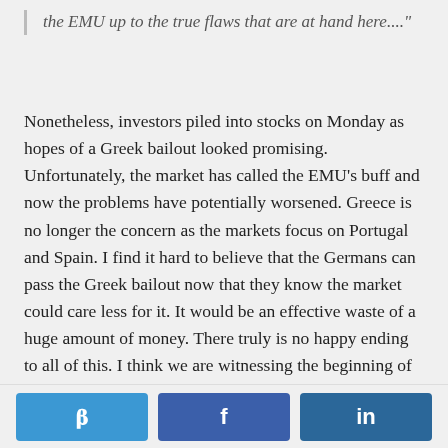the EMU up to the true flaws that are at hand here...."
Nonetheless, investors piled into stocks on Monday as hopes of a Greek bailout looked promising. Unfortunately, the market has called the EMU’s buff and now the problems have potentially worsened. Greece is no longer the concern as the markets focus on Portugal and Spain.  I find it hard to believe that the Germans can pass the Greek bailout now that they know the market could care less for it.  It would be an effective waste of a huge amount of money. There truly is no happy ending to all of this.  I think we are witnessing the beginning of the end of the EMU (how long that takes to unfold is beyond me).
[Figure (other): Social sharing buttons for Twitter, Facebook, and LinkedIn]